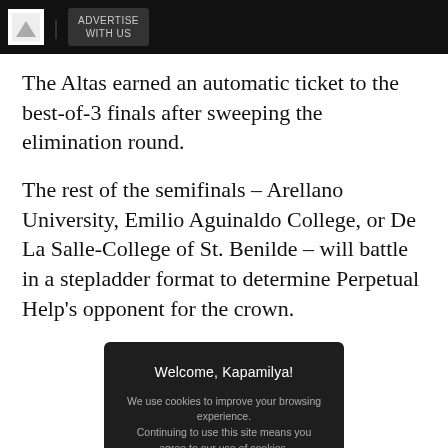ADVERTISE WITH US
The Altas earned an automatic ticket to the best-of-3 finals after sweeping the elimination round.
The rest of the semifinals – Arellano University, Emilio Aguinaldo College, or De La Salle-College of St. Benilde – will battle in a stepladder format to determine Perpetual Help's opponent for the crown.
[Figure (screenshot): Cookie consent modal dialog with dark background. Title: 'Welcome, Kapamilya!' Body text: 'We use cookies to improve your browsing experience. Continuing to use this site means you agree to our use of cookies.' Link: 'Tell me more!' Button: 'I AGREE!']